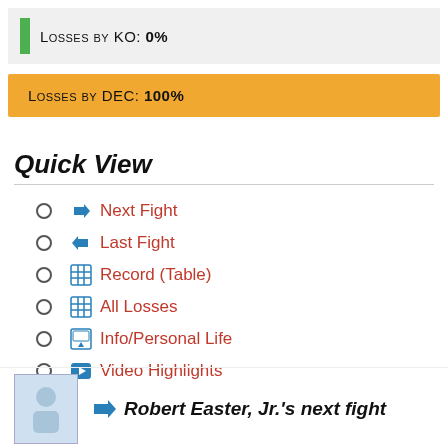Losses by KO: 0%
Losses by DEC: 100%
Quick View
→ Next Fight
← Last Fight
⊞ Record (Table)
⊞ All Losses
🖼 Info/Personal Life
▶ Video Highlights
Robert Easter, Jr.'s next fight